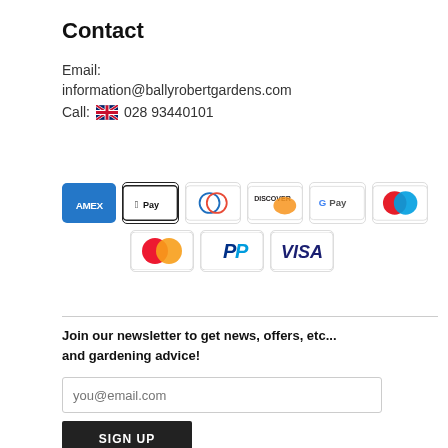Contact
Email:
information@ballyrobertgardens.com
Call: 🇬🇧 028 93440101
[Figure (logo): Payment method icons: American Express, Apple Pay, Diners Club, Discover, Google Pay, Maestro, Mastercard, PayPal, Visa]
Join our newsletter to get news, offers, etc... and gardening advice!
you@email.com
SIGN UP